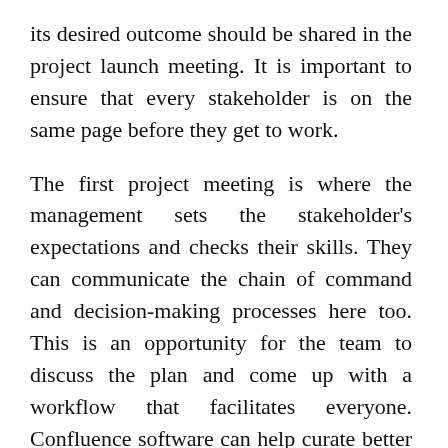its desired outcome should be shared in the project launch meeting. It is important to ensure that every stakeholder is on the same page before they get to work.
The first project meeting is where the management sets the stakeholder's expectations and checks their skills. They can communicate the chain of command and decision-making processes here too. This is an opportunity for the team to discuss the plan and come up with a workflow that facilitates everyone. Confluence software can help curate better relationships between all team members and the people involved in the project.
The project manager is supposed to assemble all teams for the kick-off meeting and specify the targets, objectives, driving forces, approving